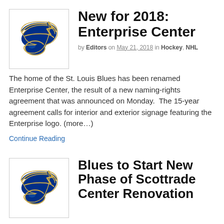[Figure (logo): St. Louis Blues NHL team logo — blue winged note on blue/yellow background]
New for 2018: Enterprise Center
by Editors on May 21, 2018 in Hockey, NHL
The home of the St. Louis Blues has been renamed Enterprise Center, the result of a new naming-rights agreement that was announced on Monday.  The 15-year agreement calls for interior and exterior signage featuring the Enterprise logo. (more…)
Continue Reading
[Figure (logo): St. Louis Blues NHL team logo — blue winged note on blue/yellow background]
Blues to Start New Phase of Scottrade Center Renovation